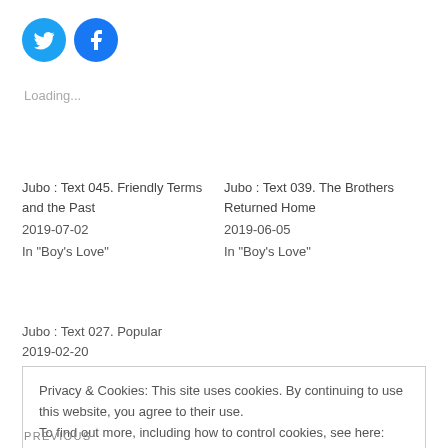[Figure (logo): Two social media icons: Twitter (blue bird) and Facebook (blue f) as circular buttons]
Loading...
Jubo : Text 045. Friendly Terms and the Past
2019-07-02
In "Boy's Love"
Jubo : Text 039. The Brothers Returned Home
2019-06-05
In "Boy's Love"
Jubo : Text 027. Popular
2019-02-20
Privacy & Cookies: This site uses cookies. By continuing to use this website, you agree to their use.
To find out more, including how to control cookies, see here: Cookie Policy
[Close and accept]
PREVIOUS